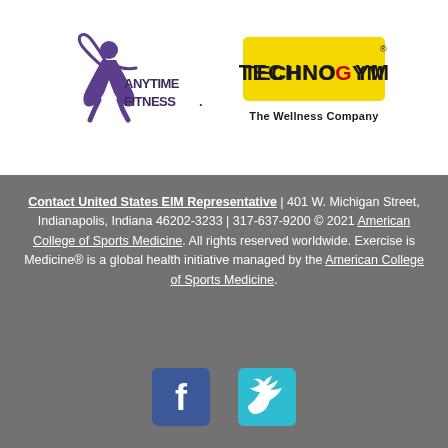[Figure (logo): Anytime Fitness logo — purple running figure with 'Anytime Fitness' text]
[Figure (logo): TechnoGym logo — yellow rectangular border with 'TechnoGym' text and 'The Wellness Company' tagline]
Contact United States EIM Representative | 401 W. Michigan Street, Indianapolis, Indiana 46202-3233 | 317-637-9200 © 2021 American College of Sports Medicine. All rights reserved worldwide. Exercise is Medicine® is a global health initiative managed by the American College of Sports Medicine.
[Figure (logo): Facebook social media icon — blue square with white F]
[Figure (logo): Twitter social media icon — teal square with white bird]